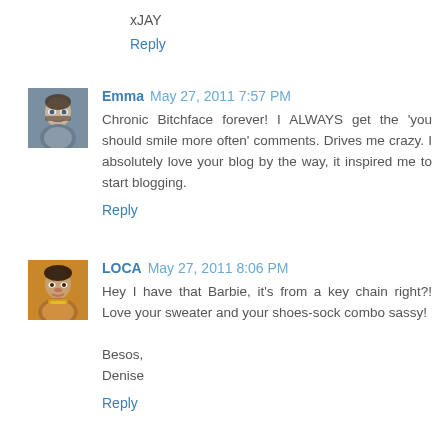xJAY
Reply
Emma May 27, 2011 7:57 PM
Chronic Bitchface forever! I ALWAYS get the 'you should smile more often' comments. Drives me crazy. I absolutely love your blog by the way, it inspired me to start blogging.
Reply
LOCA May 27, 2011 8:06 PM
Hey I have that Barbie, it's from a key chain right?! Love your sweater and your shoes-sock combo sassy!

Besos,
Denise
Reply